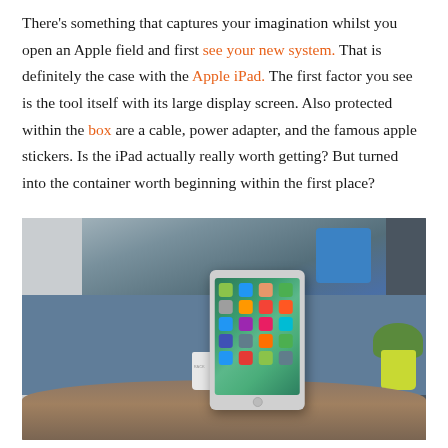There's something that captures your imagination whilst you open an Apple field and first see your new system. That is definitely the case with the Apple iPad. The first factor you see is the tool itself with its large display screen. Also protected within the box are a cable, power adapter, and the famous apple stickers. Is the iPad actually really worth getting? But turned into the container worth beginning within the first place?
[Figure (photo): Photo of an Apple iPad standing upright on a round wooden table in a living room setting, with a blue sofa, blue cushion, and yellow plant pot in the background.]